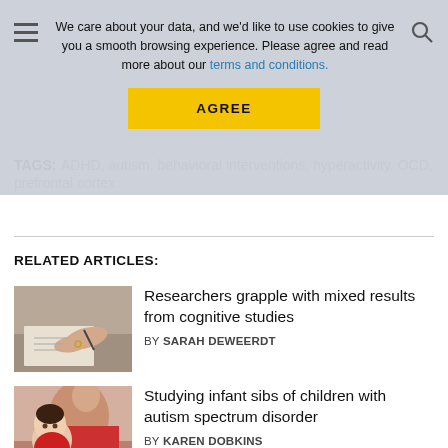We care about your data, and we'd like to use cookies to give you a smooth browsing experience. Please agree and read more about our terms and conditions. [AGREE button]
TAGS: ADHD, autism, behavioral interventions, hyperactivity, OCD, prefrontal cortex
RELATED ARTICLES:
[Figure (photo): Person writing on paper, close-up of hands]
Researchers grapple with mixed results from cognitive studies
BY SARAH DEWEERDT
[Figure (photo): Adult holding an infant/baby, child looking upward]
Studying infant sibs of children with autism spectrum disorder
BY KAREN DOBKINS